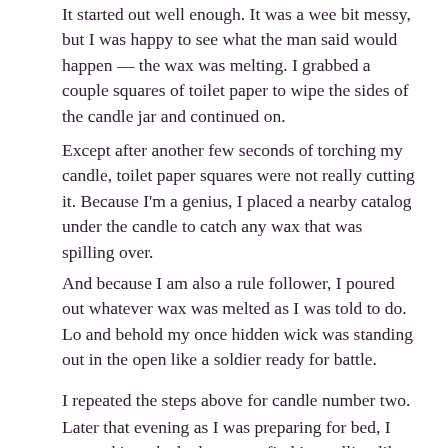It started out well enough. It was a wee bit messy, but I was happy to see what the man said would happen — the wax was melting. I grabbed a couple squares of toilet paper to wipe the sides of the candle jar and continued on.
Except after another few seconds of torching my candle, toilet paper squares were not really cutting it. Because I'm a genius, I placed a nearby catalog under the candle to catch any wax that was spilling over.
And because I am also a rule follower, I poured out whatever wax was melted as I was told to do. Lo and behold my once hidden wick was standing out in the open like a soldier ready for battle.
I repeated the steps above for candle number two.
Later that evening as I was preparing for bed, I stepped into the bathroom to find it smelling like a candle factory.